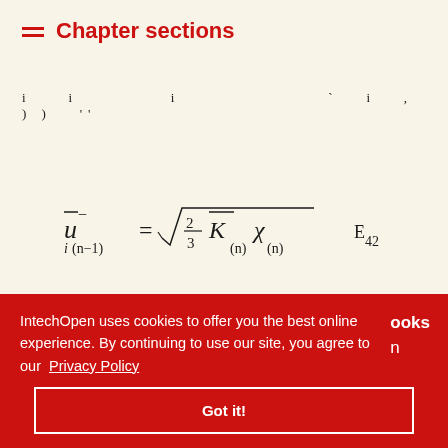Chapter sections
i  i          i                 i    ))
ADVERTISEMENT
[Figure (photo): Partial advertisement image showing blurred objects]
books
n
IntechOpen uses cookies to offer you the best online experience. By continuing to use our site, you agree to our Privacy Policy
Got it!